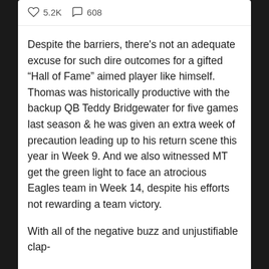♡ 5.2K  ◯ 608
Despite the barriers, there's not an adequate excuse for such dire outcomes for a gifted “Hall of Fame” aimed player like himself. Thomas was historically productive with the backup QB Teddy Bridgewater for five games last season & he was given an extra week of precaution leading up to his return scene this year in Week 9. And we also witnessed MT get the green light to face an atrocious Eagles team in Week 14, despite his efforts not rewarding a team victory.
With all of the negative buzz and unjustifiable clap-